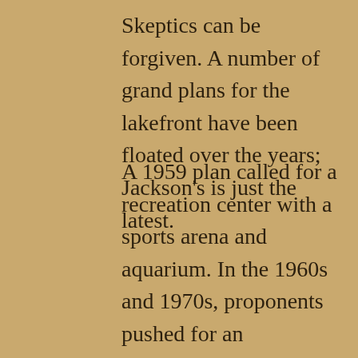Skeptics can be forgiven. A number of grand plans for the lakefront have been floated over the years; Jackson's is just the latest.
A 1959 plan called for a recreation center with a sports arena and aquarium. In the 1960s and 1970s, proponents pushed for an international jetport five miles offshore, along with new parks, beaches and marinas.
In 2000, then-Mayor Michael R. White proposed a $750 million plan that included a Ferris wheel, children's museum, band shell, theater complex,